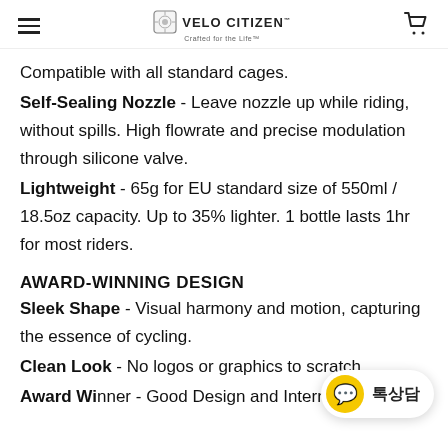VELO CITIZEN™ – Crafted for the Life™
Compatible with all standard cages.
Self-Sealing Nozzle - Leave nozzle up while riding, without spills. High flowrate and precise modulation through silicone valve.
Lightweight - 65g for EU standard size of 550ml / 18.5oz capacity. Up to 35% lighter. 1 bottle lasts 1hr for most riders.
AWARD-WINNING DESIGN
Sleek Shape - Visual harmony and motion, capturing the essence of cycling.
Clean Look - No logos or graphics to scratch.
Award Winner - Good Design and International...